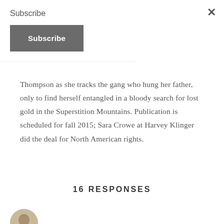Subscribe
Subscribe
Thompson as she tracks the gang who hung her father, only to find herself entangled in a bloody search for lost gold in the Superstition Mountains. Publication is scheduled for fall 2015; Sara Crowe at Harvey Klinger did the deal for North American rights.
16 RESPONSES
Elodie
REPLY